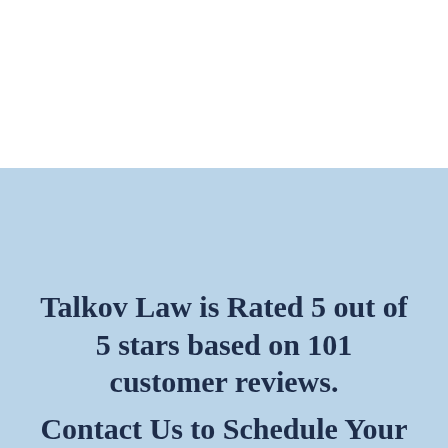Talkov Law is Rated 5 out of 5 stars based on 101 customer reviews.
Contact Us to Schedule Your